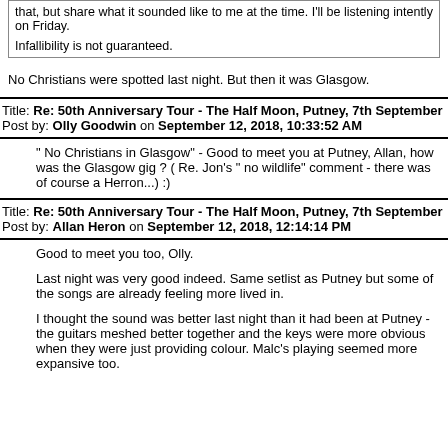that, but share what it sounded like to me at the time. I'll be listening intently on Friday.

Infallibility is not guaranteed.
No Christians were spotted last night. But then it was Glasgow.
Title: Re: 50th Anniversary Tour - The Half Moon, Putney, 7th September
Post by: Olly Goodwin on September 12, 2018, 10:33:52 AM
" No Christians in Glasgow" - Good to meet you at Putney, Allan, how was the Glasgow gig ? ( Re. Jon's " no wildlife" comment - there was of course a Herron...) :)
Title: Re: 50th Anniversary Tour - The Half Moon, Putney, 7th September
Post by: Allan Heron on September 12, 2018, 12:14:14 PM
Good to meet you too, Olly.
Last night was very good indeed. Same setlist as Putney but some of the songs are already feeling more lived in.
I thought the sound was better last night than it had been at Putney - the guitars meshed better together and the keys were more obvious when they were just providing colour. Malc's playing seemed more expansive too.